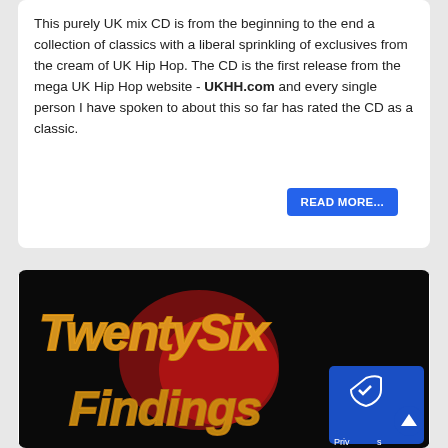This purely UK mix CD is from the beginning to the end a collection of classics with a liberal sprinkling of exclusives from the cream of UK Hip Hop. The CD is the first release from the mega UK Hip Hop website - UKHH.com and every single person I have spoken to about this so far has rated the CD as a classic.
[Figure (screenshot): Graffiti-style artwork on dark background with gold/yellow lettering reading 'TwentySix Findings' in graffiti style, with a red shape in background]